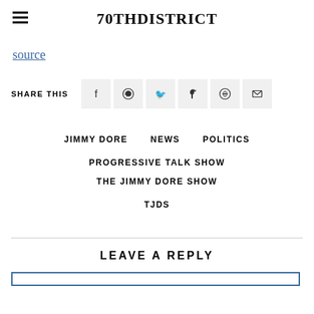70THDISTRICT
source
SHARE THIS
JIMMY DORE   NEWS   POLITICS   PROGRESSIVE TALK SHOW   THE JIMMY DORE SHOW   TJDS
LEAVE A REPLY